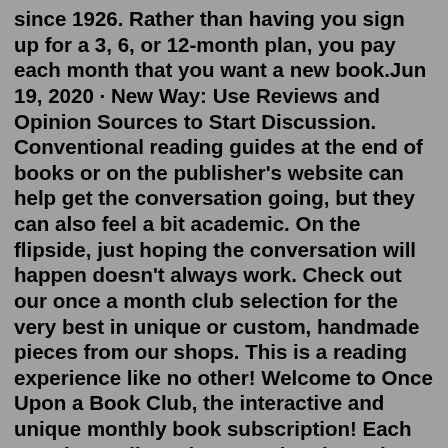since 1926. Rather than having you sign up for a 3, 6, or 12-month plan, you pay each month that you want a new book.Jun 19, 2020 · New Way: Use Reviews and Opinion Sources to Start Discussion. Conventional reading guides at the end of books or on the publisher's website can help get the conversation going, but they can also feel a bit academic. On the flipside, just hoping the conversation will happen doesn't always work. Check out our once a month club selection for the very best in unique or custom, handmade pieces from our shops. This is a reading experience like no other! Welcome to Once Upon a Book Club, the interactive and unique monthly book subscription! Each month, you'll receive a newly released book and 3-5 wrapped gifts that are labeled with page numbers. As you read, you'll be directed to open the gifts at the most important moments to bring the book to life!On the 1st of each month you'll receive a Featured Selections e-mail highlighting the best new books available in your club You receive 2